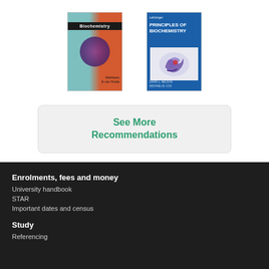[Figure (photo): Two biochemistry textbook covers side by side. Left: 'Biochemistry' textbook with teal and orange cover featuring a molecule image and author names. Right: 'Lehninger Principles of Biochemistry' with blue cover featuring a protein structure illustration.]
See More Recommendations
Enrolments, fees and money
University handbook
STAR
Important dates and census
Study
Referencing